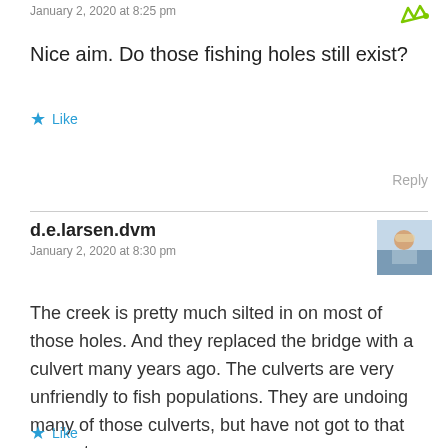January 2, 2020 at 8:25 pm
Nice aim. Do those fishing holes still exist?
★ Like
Reply
d.e.larsen.dvm
January 2, 2020 at 8:30 pm
[Figure (photo): Avatar photo of d.e.larsen.dvm showing a person outdoors]
The creek is pretty much silted in on most of those holes. And they replaced the bridge with a culvert many years ago. The culverts are very unfriendly to fish populations. They are undoing many of those culverts, but have not got to that one yet.
★ Like